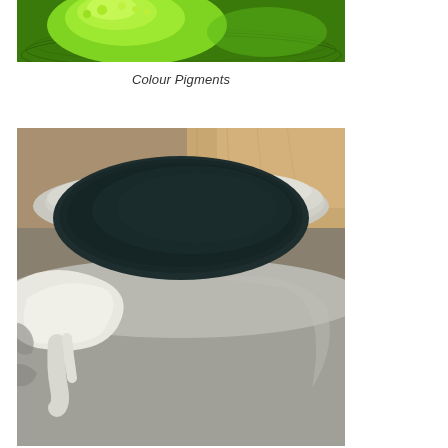[Figure (photo): Close-up photo of bright green powder pigment in a bowl, viewed from above. The vivid lime/chartreuse green powder is mounded in the center of a dark green bowl with concentric circular ridges.]
Colour Pigments
[Figure (photo): Close-up photo of a ceramic or clay pot/container with a dark teal-gray liquid or pigment inside. The container has a rough, handmade appearance with white clay drips or spills on the outside. A wooden surface is visible in the upper right background.]